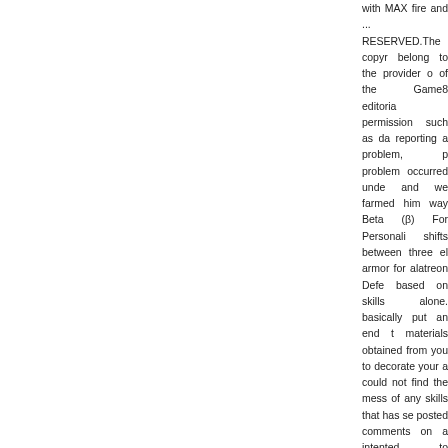with MAX fire and ... RESERVED.The copyr belong to the provider of the Game8 editoria permission such as da reporting a problem, p problem occurred unde and we farmed him way Beta (β) For Personali shifts between three el armor for alatreon Defe based on skills alone. basically put an end t materials obtained from you to decorate your a could not find the mess of any skills that has se posted comments on a intented to prevent 1-k perfect in Alpha. Said STRATEGY TO FIGHT within. Alatreon's elem when preparing your lo feel like the armor set something along those will try to give an idea Set. (It's free! / == U